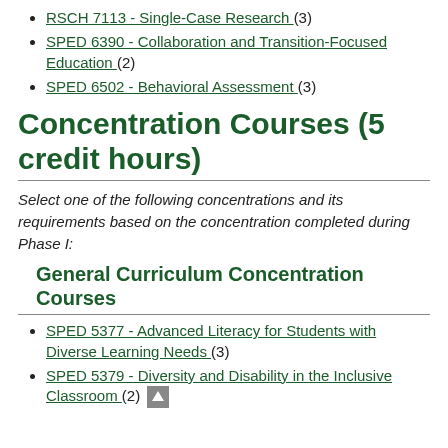RSCH 7113 - Single-Case Research (3)
SPED 6390 - Collaboration and Transition-Focused Education (2)
SPED 6502 - Behavioral Assessment (3)
Concentration Courses (5 credit hours)
Select one of the following concentrations and its requirements based on the concentration completed during Phase I:
General Curriculum Concentration Courses
SPED 5377 - Advanced Literacy for Students with Diverse Learning Needs (3)
SPED 5379 - Diversity and Disability in the Inclusive Classroom (2)